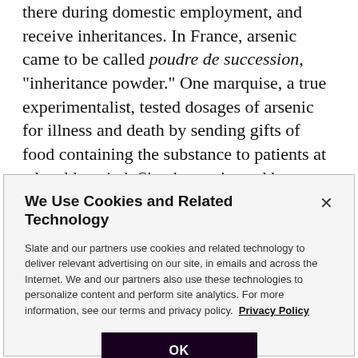there during domestic employment, and receive inheritances. In France, arsenic came to be called poudre de succession, "inheritance powder." One marquise, a true experimentalist, tested dosages of arsenic for illness and death by sending gifts of food containing the substance to patients at a local hospital. She then poisoned her father to inherit his wealth and knocked off her two brothers so she would not have to share it.
We Use Cookies and Related Technology
Slate and our partners use cookies and related technology to deliver relevant advertising on our site, in emails and across the Internet. We and our partners also use these technologies to personalize content and perform site analytics. For more information, see our terms and privacy policy. Privacy Policy